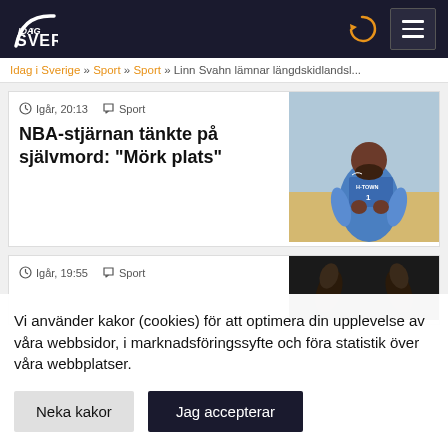[Figure (logo): Idag i Sverige website logo with arc graphic on dark navy background]
Idag i Sverige » Sport » Sport » Linn Svahn lämnar längdskidlandsl...
Igår, 20:13  Sport
NBA-stjärnan tänkte på självmord: "Mörk plats"
[Figure (photo): NBA basketball player in blue H-TOWN jersey number 1 running on court]
Igår, 19:55  Sport
[Figure (photo): Dark image showing hands raised]
Vi använder kakor (cookies) för att optimera din upplevelse av våra webbsidor, i marknadsföringssyfte och föra statistik över våra webbplatser.
Neka kakor
Jag accepterar